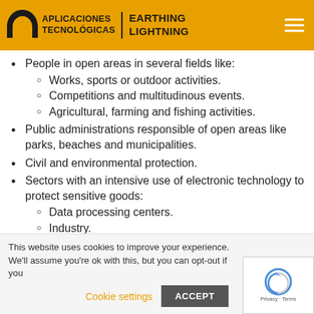APLICACIONES TECNOLÓGICAS | EARTHING LIGHTNING
People in open areas in several fields like:
Works, sports or outdoor activities.
Competitions and multitudinous events.
Agricultural, farming and fishing activities.
Public administrations responsible of open areas like parks, beaches and municipalities.
Civil and environmental protection.
Sectors with an intensive use of electronic technology to protect sensitive goods:
Data processing centers.
Industry.
...itals.
This website uses cookies to improve your experience. We'll assume you're ok with this, but you can opt-out if you
Cookie settings   ACCEPT